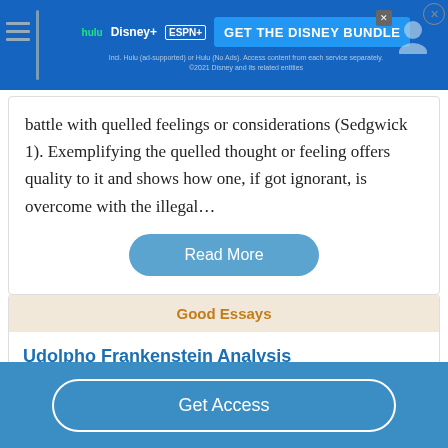[Figure (screenshot): Advertisement banner for Disney Bundle (Hulu, Disney+, ESPN+) with blue background and 'GET THE DISNEY BUNDLE' call to action]
battle with quelled feelings or considerations (Sedgwick 1). Exemplifying the quelled thought or feeling offers quality to it and shows how one, if got ignorant, is overcome with the illegal…
Read More
Good Essays
Udolpho Frankenstein Analysis
Get Access